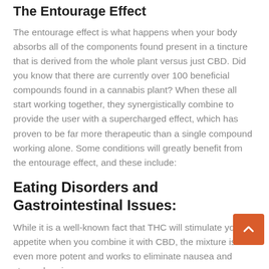The Entourage Effect
The entourage effect is what happens when your body absorbs all of the components found present in a tincture that is derived from the whole plant versus just CBD. Did you know that there are currently over 100 beneficial compounds found in a cannabis plant? When these all start working together, they synergistically combine to provide the user with a supercharged effect, which has proven to be far more therapeutic than a single compound working alone. Some conditions will greatly benefit from the entourage effect, and these include:
Eating Disorders and Gastrointestinal Issues:
While it is a well-known fact that THC will stimulate your appetite when you combine it with CBD, the mixture is even more potent and works to eliminate nausea and stomach pain.
Anxiety